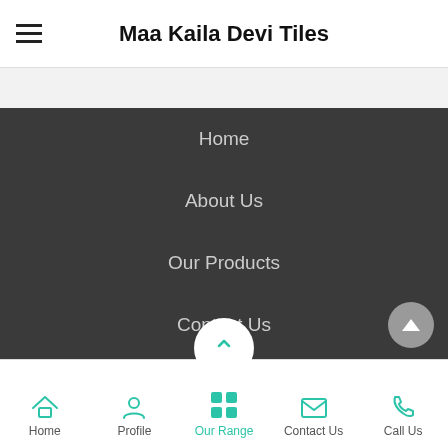Maa Kaila Devi Tiles
Home
About Us
Our Products
Contact Us
Share via
© Maa Kaila Devi Tiles
Home  Profile  Our Range  Contact Us  Call Us